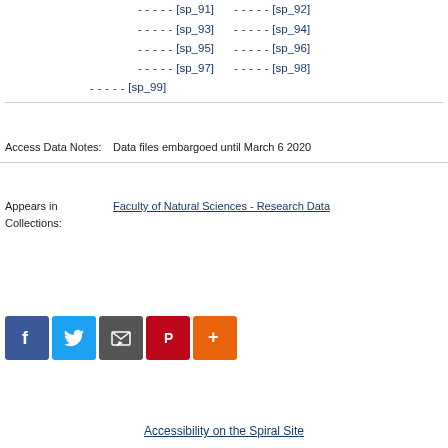- - - - - [sp_91] - - - - - [sp_92]
- - - - - [sp_93] - - - - - [sp_94]
- - - - - [sp_95] - - - - - [sp_96]
- - - - - [sp_97] - - - - - [sp_98]
- - - - - [sp_99]
Access Data Notes: Data files embargoed until March 6 2020
Appears in Collections: Faculty of Natural Sciences - Research Data
[Figure (other): Social sharing icons: Facebook, Twitter, Email/Share, Pinterest, More (+)]
Accessibility on the Spiral Site